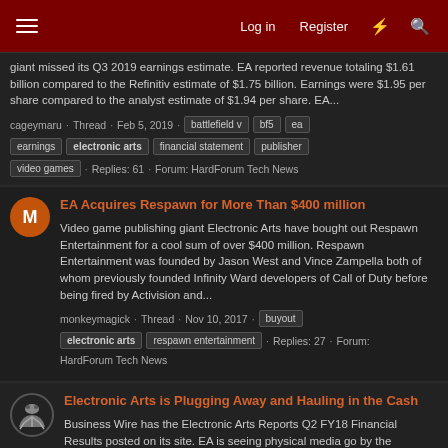Log in  Register
giant missed its Q3 2019 earnings estimate. EA reported revenue totaling $1.61 billion compared to the Refinitiv estimate of $1.75 billion. Earnings were $1.95 per share compared to the analyst estimate of $1.94 per share. EA...
cageymaru · Thread · Feb 5, 2019 · battlefield v  bf5  ea  earnings  electronic arts  financial statement  publisher  video games · Replies: 61 · Forum: HardForum Tech News
EA Acquires Respawn for More Than $400 million
Video game publishing giant Electronic Arts have bought out Respawn Entertainment for a cool sum of over $400 million. Respawn Entertainment was founded by Jason West and Vince Zampella both of whom previously founded Infinity Ward developers of Call of Duty before being fired by Activision and...
monkeymagick · Thread · Nov 10, 2017 · buyout  electronic arts  respawn entertainment · Replies: 27 · Forum: HardForum Tech News
Electronic Arts is Plugging Away and Hauling in the Cash
Business Wire has the Electronic Arts Reports Q2 FY18 Financial Results posted on its site. EA is seeing physical media go by the